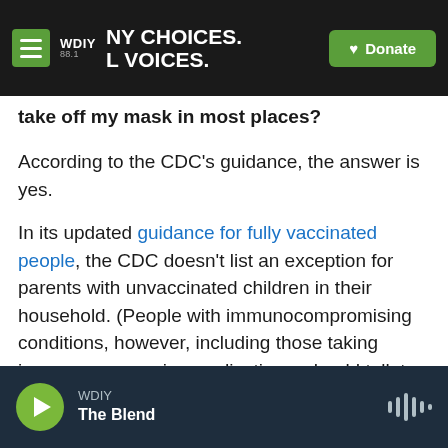WDIY 88.1 — NY CHOICES. LOCAL VOICES. [Donate button]
take off my mask in most places?
According to the CDC's guidance, the answer is yes.
In its updated guidance for fully vaccinated people, the CDC doesn't list an exception for parents with unvaccinated children in their household. (People with immunocompromising conditions, however, including those taking immunosuppressive medications, should talk to their doctor after they've been vaccinated to discuss what protective measures they might need.)
WDIY — The Blend